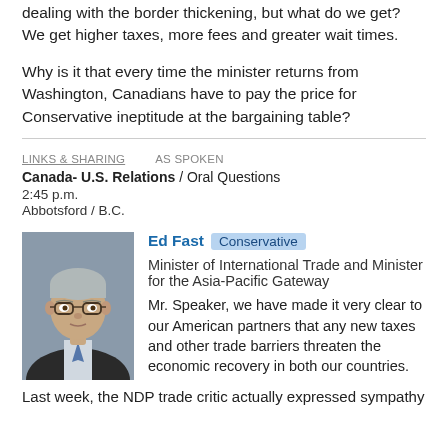dealing with the border thickening, but what do we get? We get higher taxes, more fees and greater wait times.
Why is it that every time the minister returns from Washington, Canadians have to pay the price for Conservative ineptitude at the bargaining table?
LINKS & SHARING   AS SPOKEN
Canada- U.S. Relations / Oral Questions
2:45 p.m.
Abbotsford / B.C.
[Figure (photo): Headshot photo of Ed Fast, a middle-aged man with grey hair and glasses, wearing a dark suit with a tie.]
Ed Fast Conservative Minister of International Trade and Minister for the Asia-Pacific Gateway
Mr. Speaker, we have made it very clear to our American partners that any new taxes and other trade barriers threaten the economic recovery in both our countries.
Last week, the NDP trade critic actually expressed sympathy